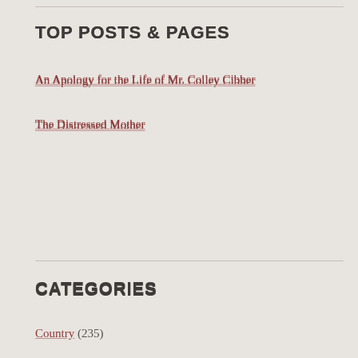TOP POSTS & PAGES
An Apology for the Life of Mr. Colley Cibber
The Distressed Mother
CATEGORIES
Country (235)
Austria-Hungary (3)
Austrian Empire (2)
Belgium (1)
Egypt (1)
Electorate of Hanover (1)
France (26)